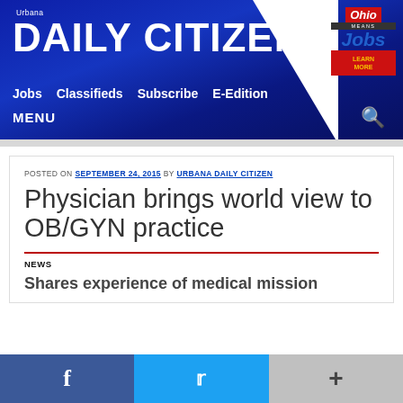Urbana DAILY CITIZEN — Jobs  Classifieds  Subscribe  E-Edition  MENU
[Figure (logo): Ohio Means Jobs logo with red Learn More badge in top-right of header]
POSTED ON SEPTEMBER 24, 2015 BY URBANA DAILY CITIZEN
Physician brings world view to OB/GYN practice
NEWS
Shares experience of medical mission